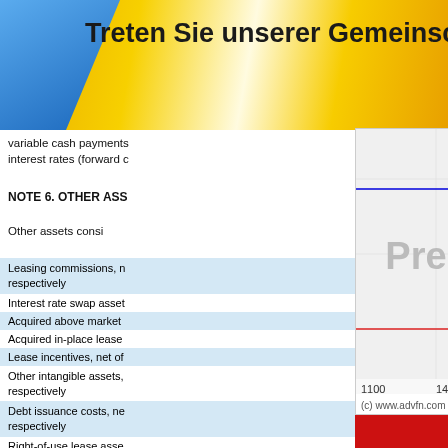[Figure (infographic): Banner with blue and gold gradient background, text reading 'Treten Sie unserer Gemeinschaft bei']
variable cash payments
interest rates (forward c
NOTE 6. OTHER ASSETS
Other assets consist
| Leasing commissions, n
respectively |
| Interest rate swap asset |
| Acquired above market |
| Acquired in-place lease |
| Lease incentives, net of |
| Other intangible assets,
respectively |
| Debt issuance costs, ne
respectively |
| Right-of-use lease asse |
| Prepaid expenses and o |
[Figure (line-chart): Stock price chart showing price movements around 27.5-28.5 range, with x-axis labels 1100, 1400, 1700, 2000, 2300 and y-axis labels 28.5, 28, 27.5. Labels 'Pre' and 'AH' shown in chart area. Source: www.advfn.com]
[Figure (infographic): Red advertisement banner with bold white text reading 'SEHEN SIE ES. TAUSCH ES!' and subtitle 'Mehrere Aktienkurse auf einer Seite anzeigen' followed by 'Leicht anpassbare']